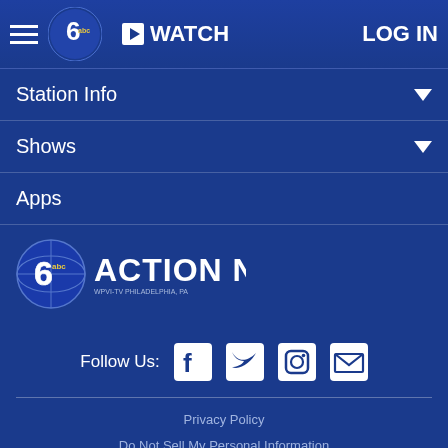WATCH  LOG IN
Station Info
Shows
Apps
[Figure (logo): 6abc Action News logo - WPVI-TV Philadelphia PA]
Follow Us:
Privacy Policy
Do Not Sell My Personal Information
Children's Privacy Policy
Your California Privacy Rights    Terms of Use
Interest-Based Ads    Public Inspection File
FCC Applications